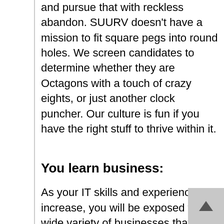and pursue that with reckless abandon. SUURV doesn't have a mission to fit square pegs into round holes. We screen candidates to determine whether they are Octagons with a touch of crazy eights, or just another clock puncher. Our culture is fun if you have the right stuff to thrive within it.
You learn business:
As your IT skills and experience increase, you will be exposed to a wide variety of businesses that either manufacture products or offer services. The visibility you gain into business